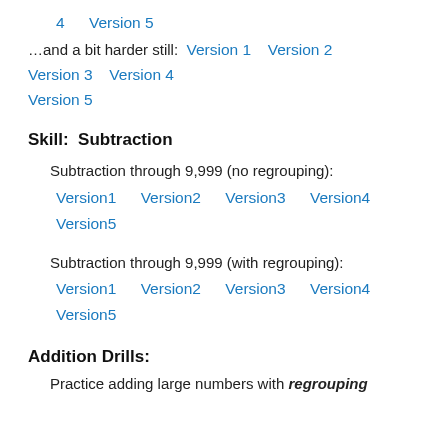4    Version 5
…and a bit harder still:  Version 1    Version 2  Version 3    Version 4  Version 5
Skill:  Subtraction
Subtraction through 9,999 (no regrouping):
Version1    Version2    Version3    Version4  Version5
Subtraction through 9,999 (with regrouping):
Version1    Version2    Version3    Version4  Version5
Addition Drills:
Practice adding large numbers with regrouping